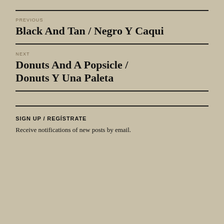PREVIOUS
Black And Tan / Negro Y Caqui
NEXT
Donuts And A Popsicle / Donuts Y Una Paleta
SIGN UP / REGÍSTRATE
Receive notifications of new posts by email.